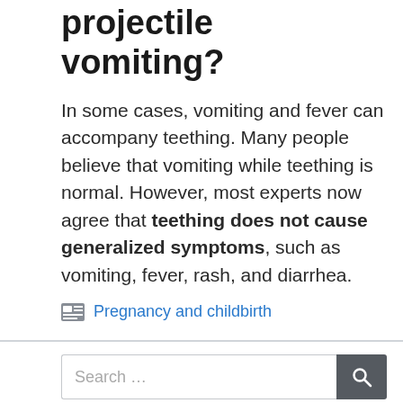projectile vomiting?
In some cases, vomiting and fever can accompany teething. Many people believe that vomiting while teething is normal. However, most experts now agree that teething does not cause generalized symptoms, such as vomiting, fever, rash, and diarrhea.
Pregnancy and childbirth
[Figure (screenshot): Search bar with text 'Search ...' and a dark grey search button with magnifying glass icon]